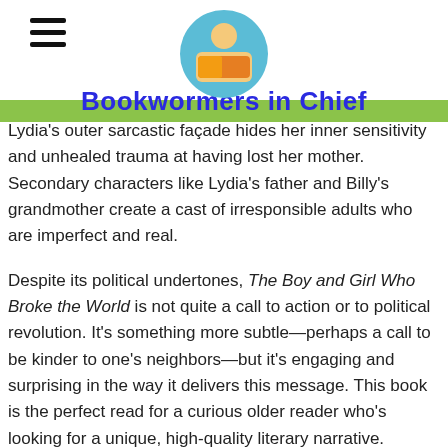Bookworms in Chief
grandmother's neighborhood, a family's history of addiction. Lydia's outer sarcastic façade hides her inner sensitivity and unhealed trauma at having lost her mother. Secondary characters like Lydia's father and Billy's grandmother create a cast of irresponsible adults who are imperfect and real.
Despite its political undertones, The Boy and Girl Who Broke the World is not quite a call to action or to political revolution. It's something more subtle—perhaps a call to be kinder to one's neighbors—but it's engaging and surprising in the way it delivers this message. This book is the perfect read for a curious older reader who's looking for a unique, high-quality literary narrative.
Sexual Content
Billy sometimes watches a show called Sexy Sober